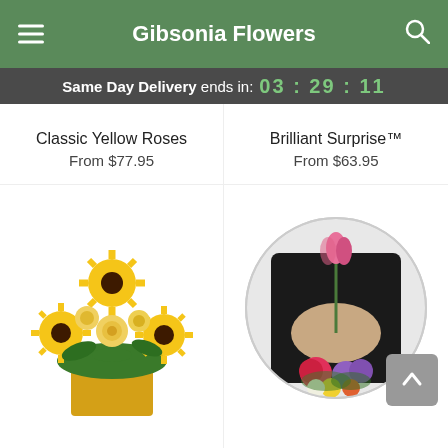Gibsonia Flowers
Same Day Delivery ends in: 03 : 29 : 11
Classic Yellow Roses
From $77.95
Brilliant Surprise™
From $63.95
[Figure (photo): Bouquet of yellow sunflowers and yellow roses in a gold square vase — Showers of Sunbeams™]
[Figure (photo): Florist in black apron holding a pink tulip and a colorful mixed flower bouquet — Florist's Choice for Birthday]
Showers of Sunbeams™
From $73.95
Florist's Choice for Birthday
From $59.95